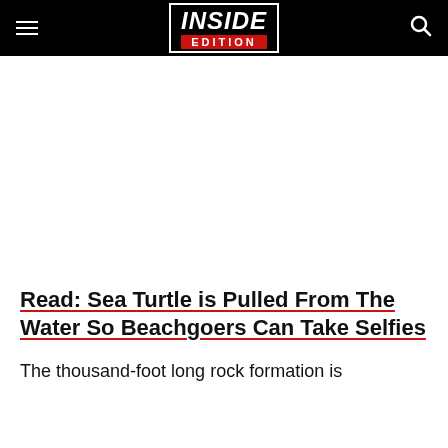INSIDE EDITION
[Figure (other): White/blank advertisement area]
Read: Sea Turtle is Pulled From The Water So Beachgoers Can Take Selfies
The thousand-foot long rock formation is